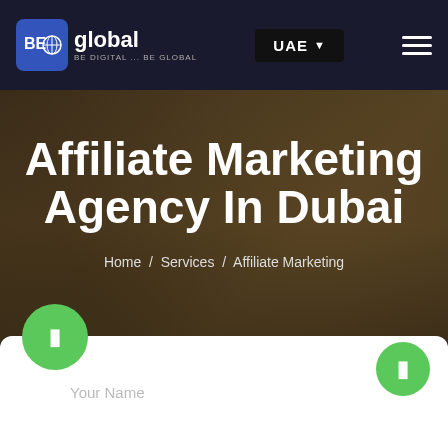[Figure (screenshot): Website navigation bar with BE Global logo on the left, UAE dropdown button in the center, and hamburger menu icon on the right. Dark navy background.]
Affiliate Marketing Agency In Dubai
Home / Services / Affiliate Marketing
[Figure (other): Contact form area at the bottom with two green circular navigation buttons and a 'Your Name' text input field on white background.]